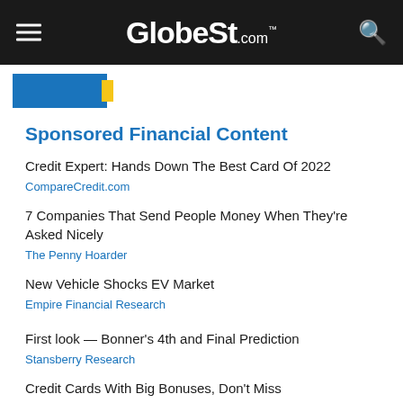GlobeSt.com
[Figure (logo): Blue rectangular logo with yellow stripe accent]
Sponsored Financial Content
Credit Expert: Hands Down The Best Card Of 2022
CompareCredit.com
7 Companies That Send People Money When They're Asked Nicely
The Penny Hoarder
New Vehicle Shocks EV Market
Empire Financial Research
First look — Bonner's 4th and Final Prediction
Stansberry Research
Credit Cards With Big Bonuses, Don't Miss